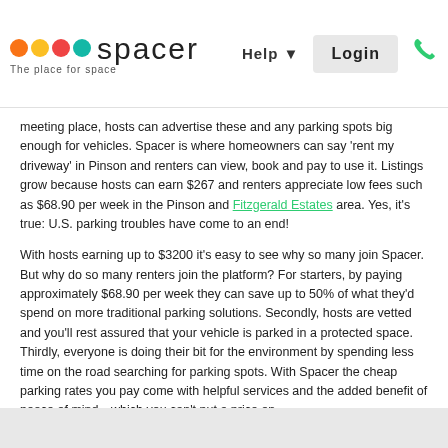spacer – The place for space | Help | Login
meeting place, hosts can advertise these and any parking spots big enough for vehicles. Spacer is where homeowners can say 'rent my driveway' in Pinson and renters can view, book and pay to use it. Listings grow because hosts can earn $267 and renters appreciate low fees such as $68.90 per week in the Pinson and Fitzgerald Estates area. Yes, it's true: U.S. parking troubles have come to an end!
With hosts earning up to $3200 it's easy to see why so many join Spacer. But why do so many renters join the platform? For starters, by paying approximately $68.90 per week they can save up to 50% of what they'd spend on more traditional parking solutions. Secondly, hosts are vetted and you'll rest assured that your vehicle is parked in a protected space. Thirdly, everyone is doing their bit for the environment by spending less time on the road searching for parking spots. With Spacer the cheap parking rates you pay come with helpful services and the added benefit of peace of mind—which you can't put a price on.